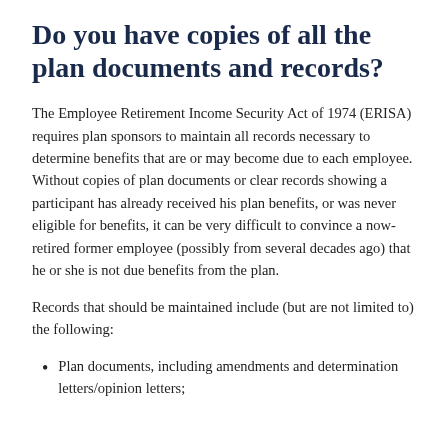Do you have copies of all the plan documents and records?
The Employee Retirement Income Security Act of 1974 (ERISA) requires plan sponsors to maintain all records necessary to determine benefits that are or may become due to each employee. Without copies of plan documents or clear records showing a participant has already received his plan benefits, or was never eligible for benefits, it can be very difficult to convince a now-retired former employee (possibly from several decades ago) that he or she is not due benefits from the plan.
Records that should be maintained include (but are not limited to) the following:
Plan documents, including amendments and determination letters/opinion letters;